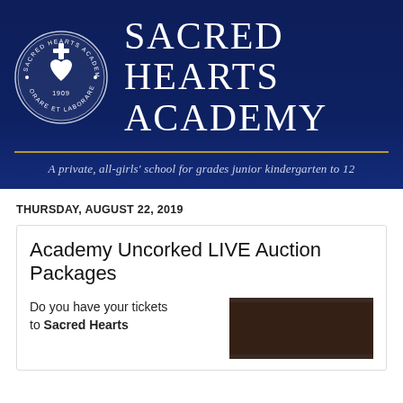[Figure (logo): Sacred Hearts Academy header banner with circular seal logo on left and school name 'SACRED HEARTS ACADEMY' on right, on dark navy blue background with gold horizontal rule and italic tagline below]
THURSDAY, AUGUST 22, 2019
Academy Uncorked LIVE Auction Packages
Do you have your tickets to Sacred Hearts